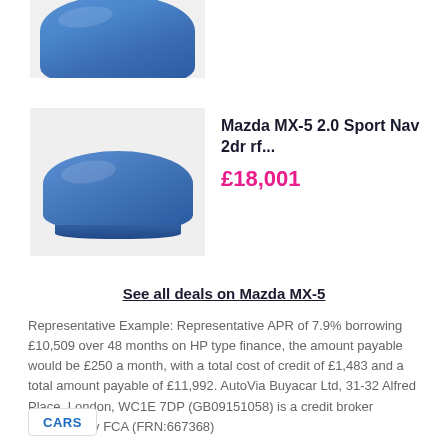[Figure (photo): Partially visible car covered with blue cloth/cover, cropped at top of page]
[Figure (photo): Car fully covered with blue cloth/cover, shown in a gray background listing thumbnail]
Mazda MX-5 2.0 Sport Nav 2dr rf...
£18,001
See all deals on Mazda MX-5
Representative Example: Representative APR of 7.9% borrowing £10,509 over 48 months on HP type finance, the amount payable would be £250 a month, with a total cost of credit of £1,483 and a total amount payable of £11,992. AutoVia Buyacar Ltd, 31-32 Alfred Place, London, WC1E 7DP (GB09151058) is a credit broker regulated by FCA (FRN:667368)
CARS